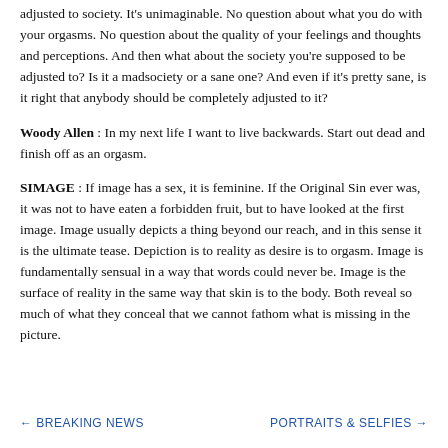adjusted to society. It's unimaginable. No question about what you do with your orgasms. No question about the quality of your feelings and thoughts and perceptions. And then what about the society you're supposed to be adjusted to? Is it a mad society or a sane one? And even if it's pretty sane, is it right that anybody should be completely adjusted to it?
Woody Allen : In my next life I want to live backwards. Start out dead and finish off as an orgasm.
SIMAGE : If image has a sex, it is feminine. If the Original Sin ever was, it was not to have eaten a forbidden fruit, but to have looked at the first image. Image usually depicts a thing beyond our reach, and in this sense it is the ultimate tease. Depiction is to reality as desire is to orgasm. Image is fundamentally sensual in a way that words could never be. Image is the surface of reality in the same way that skin is to the body. Both reveal so much of what they conceal that we cannot fathom what is missing in the picture.
← BREAKING NEWS    PORTRAITS & SELFIES →